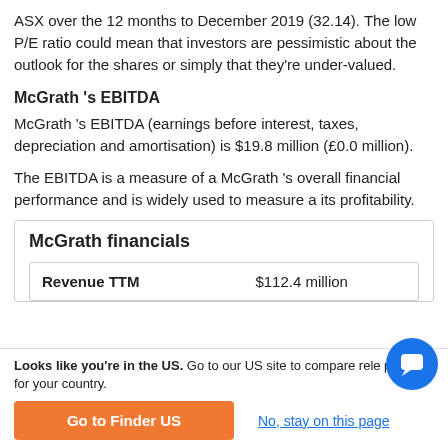ASX over the 12 months to December 2019 (32.14). The low P/E ratio could mean that investors are pessimistic about the outlook for the shares or simply that they're under-valued.
McGrath 's EBITDA
McGrath 's EBITDA (earnings before interest, taxes, depreciation and amortisation) is $19.8 million (£0.0 million).
The EBITDA is a measure of a McGrath 's overall financial performance and is widely used to measure a its profitability.
McGrath financials
| Revenue TTM | $112.4 million |
| --- | --- |
Looks like you're in the US. Go to our US site to compare rele products for your country.
Go to Finder US
No, stay on this page